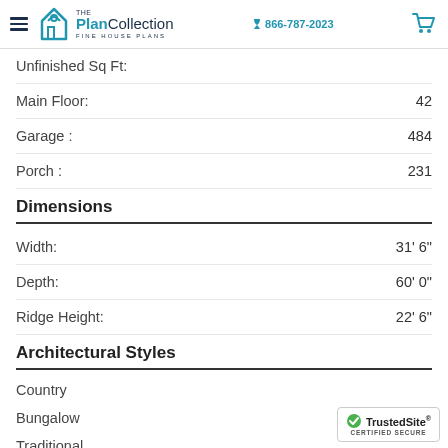The Plan Collection - FINE HOUSE PLANS | 866-787-2023
Unfinished Sq Ft:
Main Floor: 42
Garage: 484
Porch: 231
Dimensions
Width: 31' 6"
Depth: 60' 0"
Ridge Height: 22' 6"
Architectural Styles
Country
Bungalow
Traditional
Small House Plans